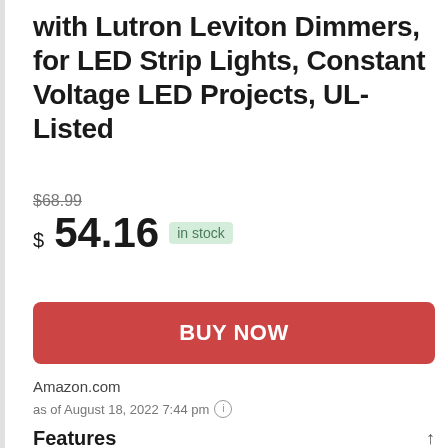with Lutron Leviton Dimmers, for LED Strip Lights, Constant Voltage LED Projects, UL-Listed
$68.99 $54.16 in stock
BUY NOW
Amazon.com
as of August 18, 2022 7:44 pm (i)
Features